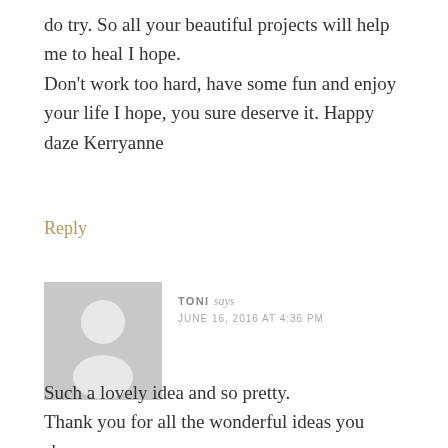do try. So all your beautiful projects will help me to heal I hope.
Don't work too hard, have some fun and enjoy your life I hope, you sure deserve it. Happy daze Kerryanne
Reply
[Figure (illustration): Default user avatar placeholder — grey square with white silhouette of a person (head and shoulders)]
TONI says
JUNE 16, 2016 AT 4:36 PM
Such a lovely idea and so pretty.
Thank you for all the wonderful ideas you share.